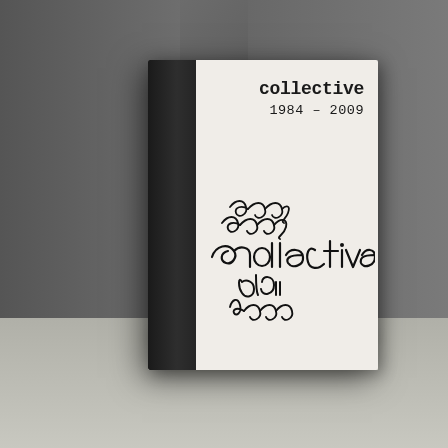[Figure (photo): A hardcover book titled 'collective 1984 – 2009' standing upright in a corner, leaning against two gray walls with a light-colored floor. The book has a dark navy/black cloth spine on the left and a white/cream cover on the right. The cover displays the title 'collective' in bold slab-serif monospace font and '1984 – 2009' below it, plus a large black ink scribble/handwriting signature in the lower portion of the cover.]